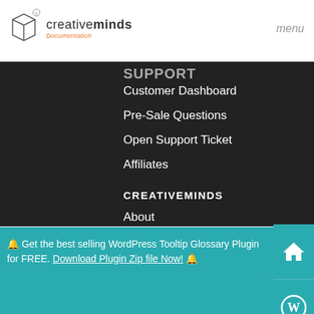[Figure (logo): CreativeMinds Documentation logo with cube icon]
menu
SUPPORT
Customer Dashboard
Pre-Sale Questions
Open Support Ticket
Affiliates
CREATIVEMINDS
About
🔔 Get the best selling WordPress Tooltip Glossary Plugin for FREE. Download Plugin Zip file Now! 🔔